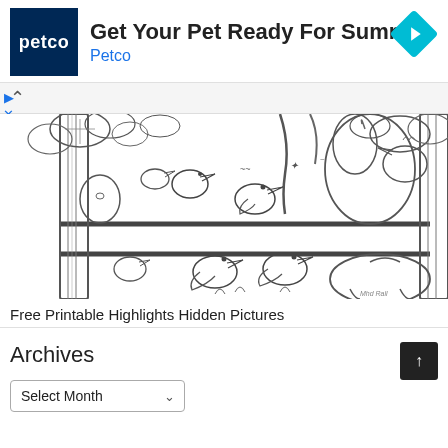[Figure (logo): Petco advertisement banner with Petco logo (dark blue square with white 'petco' text), title 'Get Your Pet Ready For Summer', subtitle 'Petco', and a cyan diamond navigation icon on the right]
[Figure (illustration): Black and white coloring page illustration showing birds, animals (including a rabbit/bunny), trees, and a fence scene - Free Printable Highlights Hidden Pictures]
Free Printable Highlights Hidden Pictures
Archives
Select Month